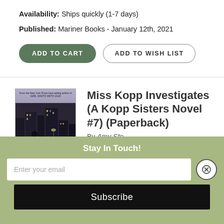Availability: Ships quickly (1-7 days)
Published: Mariner Books - January 12th, 2021
ADD TO CART
ADD TO WISH LIST
[Figure (illustration): Book cover for Miss Kopp Investigates showing a black and white city scene at night with a figure, with purple tones and title text at the bottom.]
Miss Kopp Investigates (A Kopp Sisters Novel #7) (Paperback)
Stay In Touch!
Enter your email
Subscribe